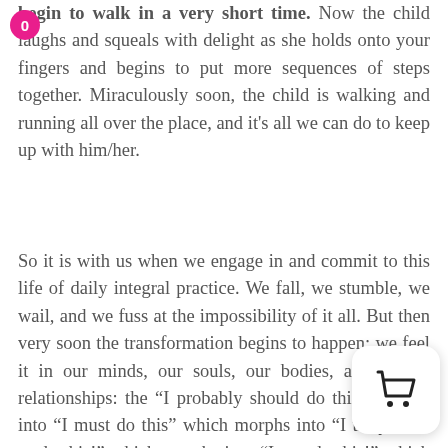begin to walk in a very short time. Now the child laughs and squeals with delight as she holds onto your fingers and begins to put more sequences of steps together. Miraculously soon, the child is walking and running all over the place, and it's all we can do to keep up with him/her.
So it is with us when we engage in and commit to this life of daily integral practice. We fall, we stumble, we wail, and we fuss at the impossibility of it all. But then very soon the transformation begins to happen; we feel it in our minds, our souls, our bodies, and in our relationships: the “I probably should do this” morphs into “I must do this” which morphs into “I truly want to do this!” which morphs into “I can do this!” which morphs into “I am this!” That which morphs into this is who I am—my practice, my gifts, my vocations and